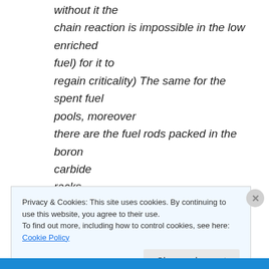without it the chain reaction is impossible in the low enriched fuel) for it to regain criticality) The same for the spent fuel pools, moreover there are the fuel rods packed in the boron carbide racks.
I agree with you about all of the late recriticality claims, and I would add that the early recriticality possibility
Privacy & Cookies: This site uses cookies. By continuing to use this website, you agree to their use. To find out more, including how to control cookies, see here: Cookie Policy